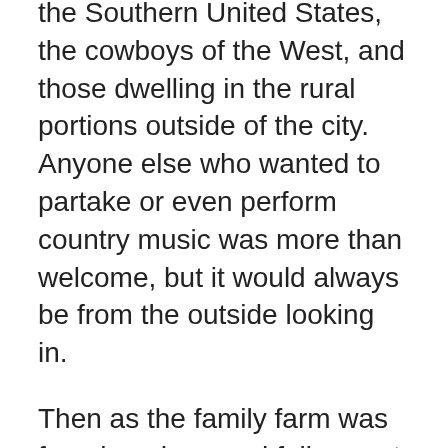the Southern United States, the cowboys of the West, and those dwelling in the rural portions outside of the city. Anyone else who wanted to partake or even perform country music was more than welcome, but it would always be from the outside looking in.
Then as the family farm was foreclosed on, and folks went looking for work in the cities, rural-dwelling people brought their stories and their music to the factory lines. Bobby Bare sang “Detroit City” in 1963, and soon country music became the domain of the blue collar worker and the rust belt as well.
With a voice like a vehicle with holes rusted through the sheet metal and a muffler dragging the street,